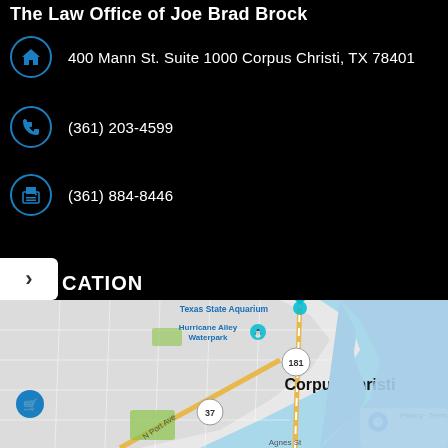The Law Office of Joe Brad Brock
400 Mann St. Suite 1000 Corpus Christi, TX 78401
(361) 203-4599
(361) 884-8446
LOCATION
[Figure (map): Google Map showing Corpus Christi, TX area with Texas State Aquarium, Hurricane Alley Waterpark, highway 181 and 37 visible. Corpus Christi bay shown on the right side.]